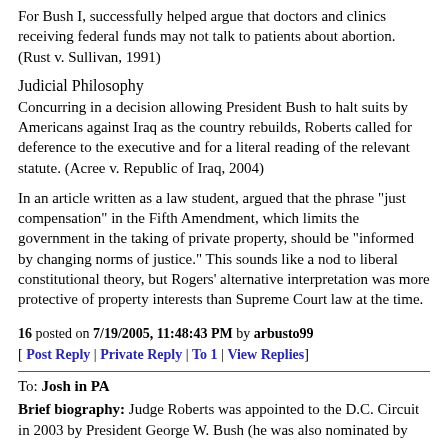For Bush I, successfully helped argue that doctors and clinics receiving federal funds may not talk to patients about abortion. (Rust v. Sullivan, 1991)
Judicial Philosophy
Concurring in a decision allowing President Bush to halt suits by Americans against Iraq as the country rebuilds, Roberts called for deference to the executive and for a literal reading of the relevant statute. (Acree v. Republic of Iraq, 2004)
In an article written as a law student, argued that the phrase "just compensation" in the Fifth Amendment, which limits the government in the taking of private property, should be "informed by changing norms of justice." This sounds like a nod to liberal constitutional theory, but Rogers' alternative interpretation was more protective of property interests than Supreme Court law at the time.
16 posted on 7/19/2005, 11:48:43 PM by arbusto99
[ Post Reply | Private Reply | To 1 | View Replies]
To: Josh in PA
Brief biography: Judge Roberts was appointed to the D.C. Circuit in 2003 by President George W. Bush (he was also nominated by